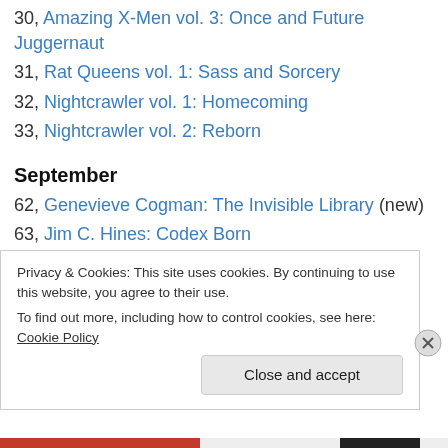30, Amazing X-Men vol. 3: Once and Future Juggernaut
31, Rat Queens vol. 1: Sass and Sorcery
32, Nightcrawler vol. 1: Homecoming
33, Nightcrawler vol. 2: Reborn
September
62, Genevieve Cogman: The Invisible Library (new)
63, Jim C. Hines: Codex Born
64, Allyson Longueira ed.: Fiction River Presents: The Unexpected
65, Tanya Huff: Sing the Four Quarters (p&m, action)
Privacy & Cookies: This site uses cookies. By continuing to use this website, you agree to their use. To find out more, including how to control cookies, see here: Cookie Policy
Close and accept